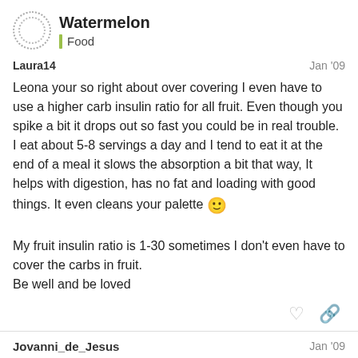Watermelon
Food
Laura14  Jan '09
Leona your so right about over covering I even have to use a higher carb insulin ratio for all fruit. Even though you spike a bit it drops out so fast you could be in real trouble. I eat about 5-8 servings a day and I tend to eat it at the end of a meal it slows the absorption a bit that way, It helps with digestion, has no fat and loading with good things. It even cleans your palette 🙂
My fruit insulin ratio is 1-30 sometimes I don't even have to cover the carbs in fruit.
Be well and be loved
Jovanni_de_Jesus  Jan '09
7 / 11